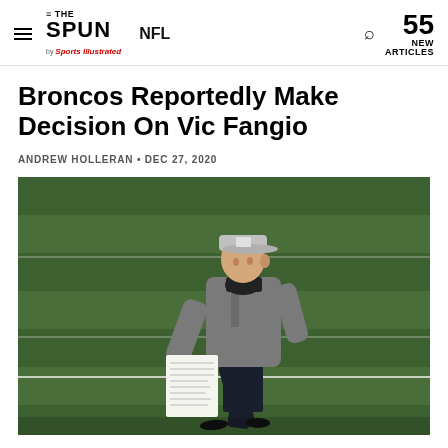THE SPUN by Sports Illustrated | NFL | 55 NEW ARTICLES
Broncos Reportedly Make Decision On Vic Fangio
ANDREW HOLLERAN • DEC 27, 2020
[Figure (photo): A football coach in a gray hoodie and gray cap, wearing a black neck gaiter mask, holding a play card, walking on a green football field]